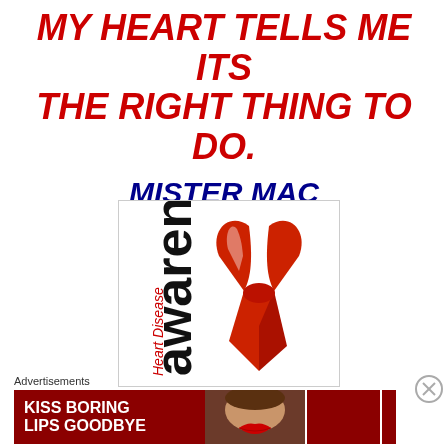MY HEART TELLS ME ITS THE RIGHT THING TO DO.
MISTER MAC
[Figure (illustration): Heart Disease Awareness ribbon logo — red awareness ribbon with text 'Heart Disease' and 'awareness' in black bold lettering on white background]
Advertisements
[Figure (photo): Macy's advertisement banner with red background, woman with red lipstick, text 'KISS BORING LIPS GOODBYE', 'SHOP NOW', and Macy's star logo]